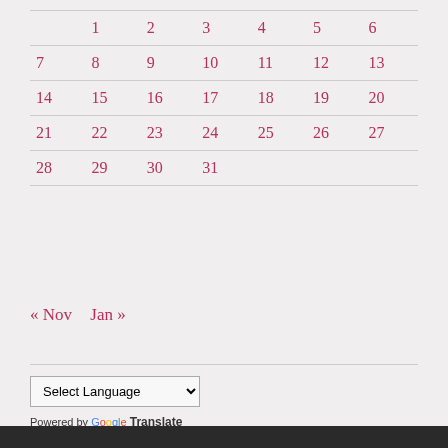|  | 1 | 2 | 3 | 4 | 5 | 6 |
| --- | --- | --- | --- | --- | --- | --- |
| 7 | 8 | 9 | 10 | 11 | 12 | 13 |
| 14 | 15 | 16 | 17 | 18 | 19 | 20 |
| 21 | 22 | 23 | 24 | 25 | 26 | 27 |
| 28 | 29 | 30 | 31 |  |  |  |
« Nov   Jan »
Select Language  Powered by Google Translate